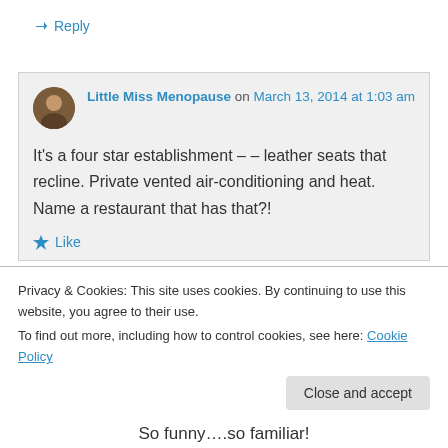↳ Reply
Little Miss Menopause on March 13, 2014 at 1:03 am
It's a four star establishment – – leather seats that recline. Private vented air-conditioning and heat. Name a restaurant that has that?!
Like
Privacy & Cookies: This site uses cookies. By continuing to use this website, you agree to their use.
To find out more, including how to control cookies, see here: Cookie Policy
Close and accept
So funny….so familiar!